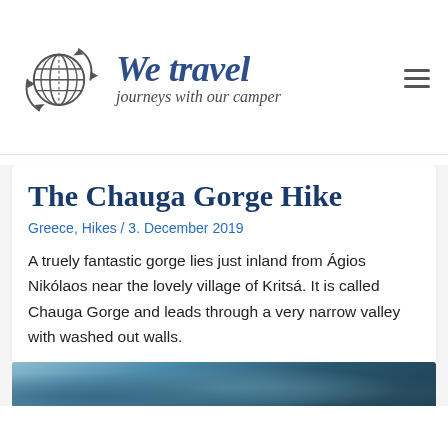[Figure (logo): We travel – journeys with our camper logo: globe with circular arrows and brand name in italic blue script]
The Chauga Gorge Hike
Greece, Hikes / 3. December 2019
A truely fantastic gorge lies just inland from Ágios Nikólaos near the lovely village of Kritsá. It is called Chauga Gorge and leads through a very narrow valley with washed out walls.
[Figure (photo): Bottom edge of a rocky gorge / landscape photo, partially visible]